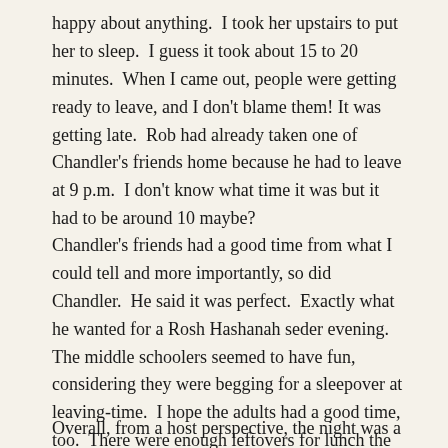happy about anything.  I took her upstairs to put her to sleep.  I guess it took about 15 to 20 minutes.  When I came out, people were getting ready to leave, and I don't blame them! It was getting late.  Rob had already taken one of Chandler's friends home because he had to leave at 9 p.m.  I don't know what time it was but it had to be around 10 maybe?
Chandler's friends had a good time from what I could tell and more importantly, so did Chandler.  He said it was perfect.  Exactly what he wanted for a Rosh Hashanah seder evening.  The middle schoolers seemed to have fun, considering they were begging for a sleepover at leaving-time.  I hope the adults had a good time, too.  There were enough leftovers for lunch the next day so that was an added plus.
Overall, from a host perspective, the night was a